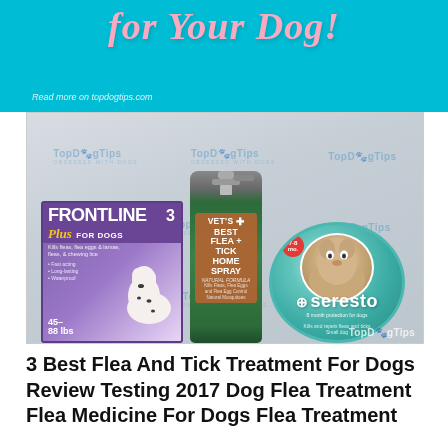[Figure (photo): Cyan/teal banner with cursive italic pink text reading 'for Your Dog!' and subtitle 'Read more on topdogtips.com']
[Figure (photo): Product photo showing three flea and tick treatment products against a TopDogTips branded backdrop: Frontline Plus for Dogs box (Dalmatian), Vet's Best Flea+Tick Home Spray bottle (green), and Seresto circular collar packaging (teal, with small dog photo). TopDogTips watermark in bottom right.]
3 Best Flea And Tick Treatment For Dogs Review Testing 2017 Dog Flea Treatment Flea Medicine For Dogs Flea Treatment